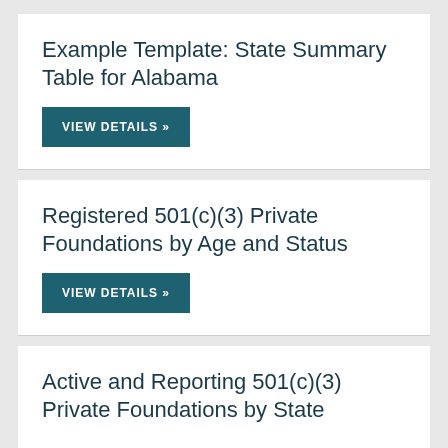Example Template: State Summary Table for Alabama
VIEW DETAILS »
Registered 501(c)(3) Private Foundations by Age and Status
VIEW DETAILS »
Active and Reporting 501(c)(3) Private Foundations by State